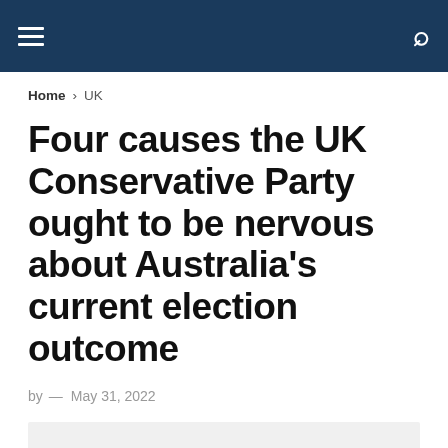Navigation bar with hamburger menu and search icon
Home > UK
Four causes the UK Conservative Party ought to be nervous about Australia's current election outcome
by — May 31, 2022
[Figure (photo): Image placeholder, light grey background]